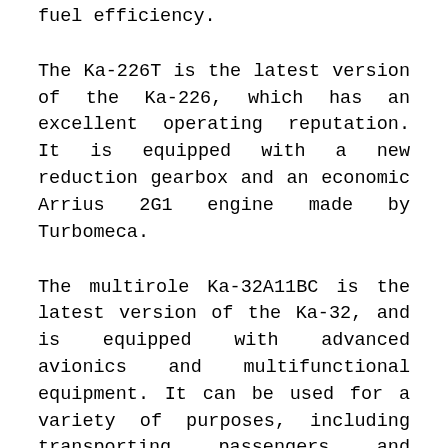fuel efficiency.
The Ka-226T is the latest version of the Ka-226, which has an excellent operating reputation. It is equipped with a new reduction gearbox and an economic Arrius 2G1 engine made by Turbomeca.
The multirole Ka-32A11BC is the latest version of the Ka-32, and is equipped with advanced avionics and multifunctional equipment. It can be used for a variety of purposes, including transporting passengers and goods, construction work, firefighting, search-and-rescue, emergency evacuation and routing patrolling operators, and can also load and unload ships both anchored and while underway. Additional equipment is